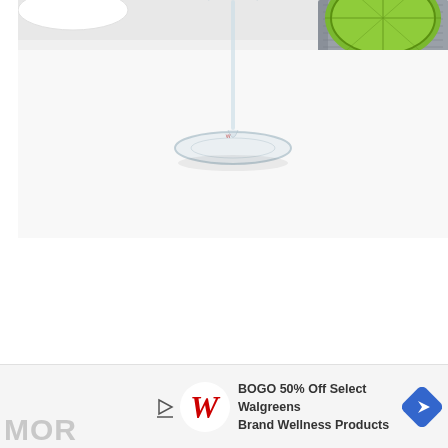[Figure (photo): A clear stemmed cocktail glass on a white surface, with a halved lime in the upper right corner and folded gray fabric/napkin in the upper right. The photo is cropped showing mainly the base and lower stem of the glass.]
[Figure (infographic): Advertisement banner for Walgreens: BOGO 50% Off Select Walgreens Brand Wellness Products, with Walgreens cursive W logo and a blue diamond navigation/arrow icon.]
MORE